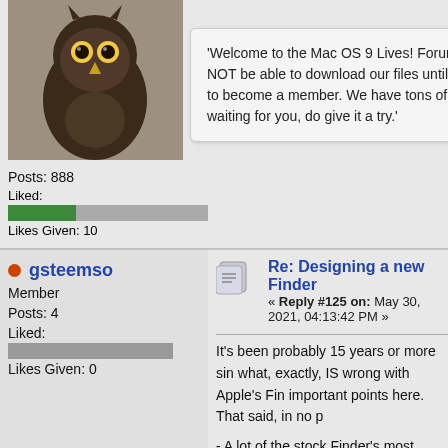[Figure (photo): Avatar image of an owl, dark brown feathers, looking forward]
Posts: 888
Liked:
Likes Given: 10
'Welcome to the Mac OS 9 Lives! Forum You will NOT be able to download our files until you register to become a member. We have tons of FREE stuff waiting for you, do give it a try.'
gsteemso
Member
Posts: 4
Liked:
Likes Given: 0
Re: Designing a new Finder
« Reply #125 on: May 30, 2021, 04:13:42 PM »
It's been probably 15 years or more sin what, exactly, IS wrong with Apple's Fin important points here. That said, in no p
- A lot of the stock Finder's most annoy the commercial (or was it shareware?) when it was current and I lost track of it source of behavioural examples, if noth
- I believe that the stock Finder's "you m from returning" thing is due in no small